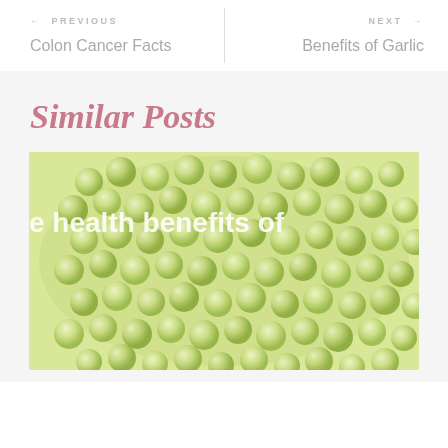← PREVIOUS
Colon Cancer Facts
NEXT →
Benefits of Garlic
Similar Posts
[Figure (photo): A bowl of green peas photographed from above, with overlaid text reading 'e health benefits of']